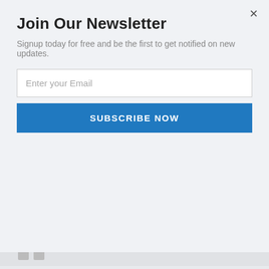Join Our Newsletter
Signup today for free and be the first to get notified on new updates.
Enter your Email
SUBSCRIBE NOW
Boomers savings may be inadequte now but based on current taxes and future taxes the current non boomer population will have to pay due to the debts the country has run up future generations will have a lot less when they retire
Reply